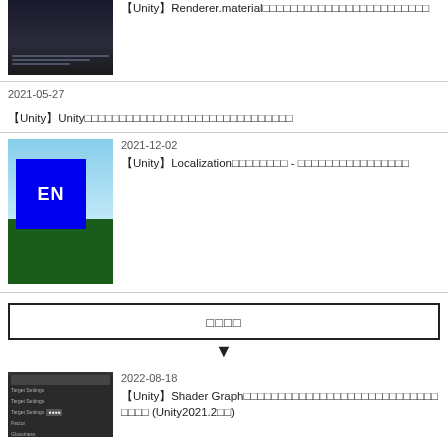[Figure (screenshot): Unity editor screenshot thumbnail (dark UI with code/settings)]
【Unity】Renderer.material□□□□□□□□□□□□□□□□□□□□□□□□
2021-05-27
【Unity】Unity□□□□□□□□□□□□□□□□□□□□□□□□□□□□□□
[Figure (screenshot): Unity scene thumbnail with blue EN box overlay on landscape background]
2021-12-02
【Unity】Localization□□□□□□□□ - □□□□□□□□□□□□□□□□
□□□□
2022-08-18
[Figure (screenshot): Unity Shader Graph settings panel thumbnail]
【Unity】Shader Graph□□□□□□□□□□□□□□□□□□□□□□□□□□□□□□□□ (Unity2021.2□□)